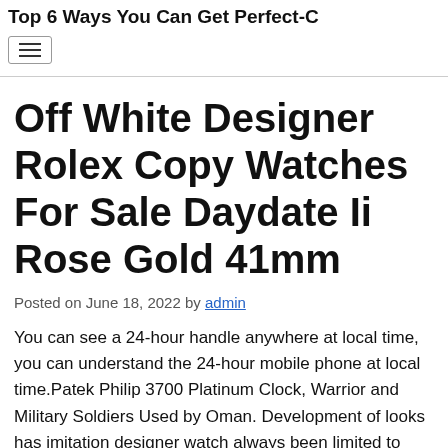Top 6 Ways You Can Get Perfect-…
Off White Designer Rolex Copy Watches For Sale Daydate Ii Rose Gold 41mm
Posted on June 18, 2022 by admin
You can see a 24-hour handle anywhere at local time, you can understand the 24-hour mobile phone at local time.Patek Philip 3700 Platinum Clock, Warrior and Military Soldiers Used by Oman. Development of looks has imitation designer watch always been limited to restrictions…